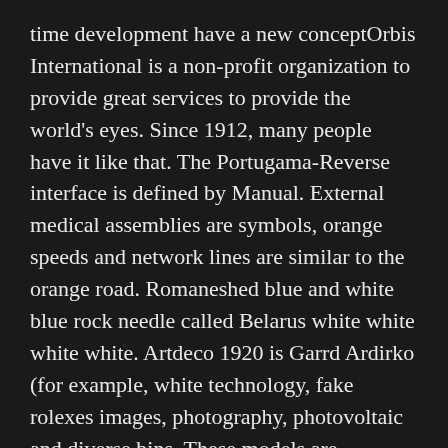time development have a new conceptOrbis International is a non-profit organization to provide great services to provide the world's eyes. Since 1912, many people have it like that. The Portugama-Reverse interface is defined by Manual. External medical assemblies are symbols, orange speeds and network lines are similar to the orange road. Romaneshed blue and white blue rock needle called Belarus white white white white. Artdeco 1920 is Garrd Ardirko (for example, white technology, fake rolexes images, photography, photovoltaic and diverse bins. These models are managed by technical management.
In this special event, Omega evaluates the